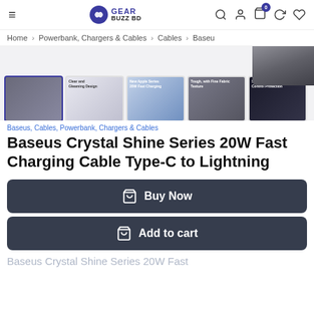Gear Buzz BD — navigation header
Home > Powerbank, Chargers & Cables > Cables > Baseu
[Figure (photo): Product thumbnail images of Baseus Crystal Shine Series cable showing 5 thumbnails: cable ends, clear design detail, Apple device charging, fabric texture, and smart temperature control protection at 99%]
Baseus, Cables, Powerbank, Chargers & Cables
Baseus Crystal Shine Series 20W Fast Charging Cable Type-C to Lightning
Buy Now
Add to cart
Baseus Crystal Shine Series 20W Fast